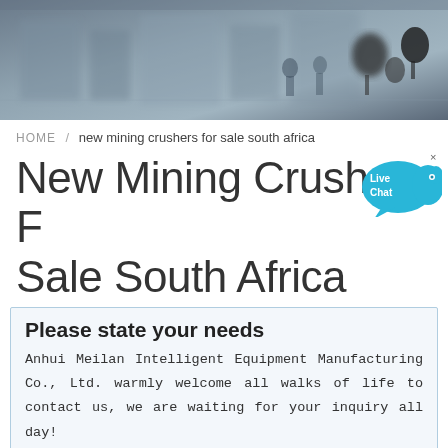[Figure (photo): Hero image of an industrial/studio interior with equipment and microphones, blurred background in grays and blues]
HOME / new mining crushers for sale south africa
New Mining Crushers For Sale South Africa
Please state your needs
Anhui Meilan Intelligent Equipment Manufacturing Co., Ltd. warmly welcome all walks of life to contact us, we are waiting for your inquiry all day!
Name:* Such as: petter